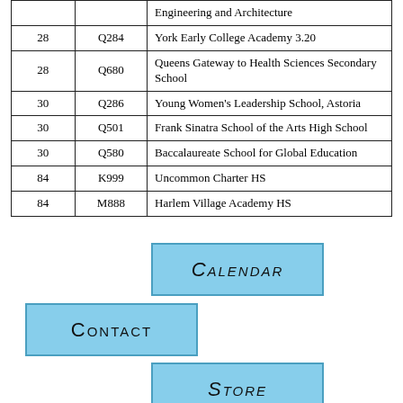|  |  | Engineering and Architecture |
| --- | --- | --- |
| 28 | Q284 | York Early College Academy 3.20 |
| 28 | Q680 | Queens Gateway to Health Sciences Secondary School |
| 30 | Q286 | Young Women's Leadership School, Astoria |
| 30 | Q501 | Frank Sinatra School of the Arts High School |
| 30 | Q580 | Baccalaureate School for Global Education |
| 84 | K999 | Uncommon Charter HS |
| 84 | M888 | Harlem Village Academy HS |
[Figure (other): Button labeled CALENDAR in light blue]
[Figure (other): Button labeled CONTACT in light blue]
[Figure (other): Button labeled STORE in light blue]